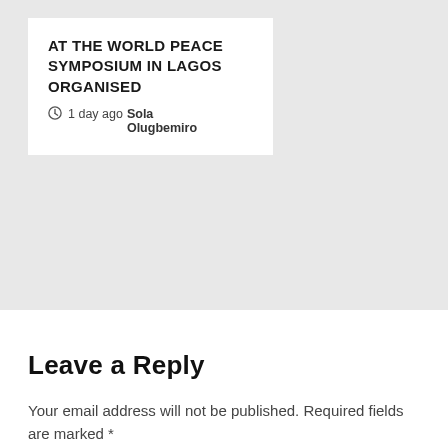AT THE WORLD PEACE SYMPOSIUM IN LAGOS ORGANISED
1 day ago  Sola Olugbemiro
Leave a Reply
Your email address will not be published. Required fields are marked *
Comment *